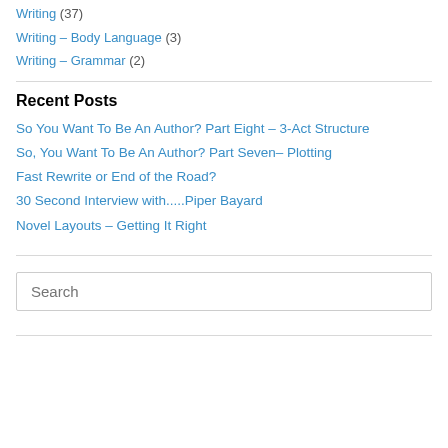Writing (37)
Writing – Body Language (3)
Writing – Grammar (2)
Recent Posts
So You Want To Be An Author? Part Eight – 3-Act Structure
So, You Want To Be An Author? Part Seven– Plotting
Fast Rewrite or End of the Road?
30 Second Interview with.....Piper Bayard
Novel Layouts – Getting It Right
Search